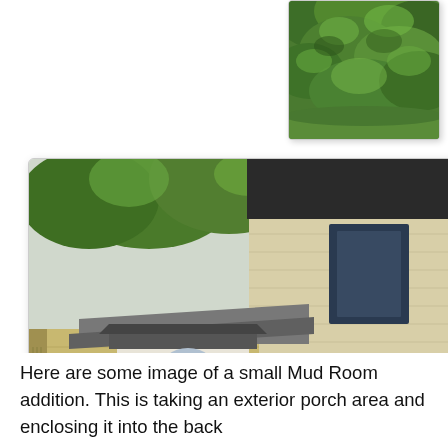[Figure (photo): Partial view of tree foliage and green landscape, top of page, cropped]
[Figure (photo): Exterior photo of a two-story house with beige/tan vinyl siding, a covered entryway with arched window above white door, attached lower roof section, green shrubs and hosta plants in foreground landscaping]
Here are some image of a small Mud Room addition. This is taking an exterior porch area and enclosing it into the back